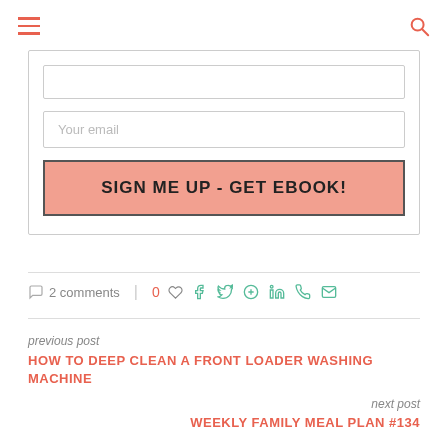Menu / Search
Your email
SIGN ME UP - GET EBOOK!
2 comments | 0 likes | social share icons
previous post
HOW TO DEEP CLEAN A FRONT LOADER WASHING MACHINE
next post
WEEKLY FAMILY MEAL PLAN #134